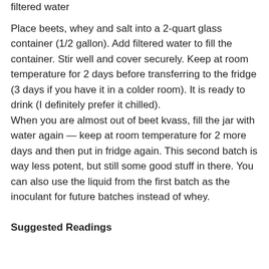filtered water
Place beets, whey and salt into a 2-quart glass container (1/2 gallon). Add filtered water to fill the container. Stir well and cover securely. Keep at room temperature for 2 days before transferring to the fridge (3 days if you have it in a colder room). It is ready to drink (I definitely prefer it chilled).
When you are almost out of beet kvass, fill the jar with water again — keep at room temperature for 2 more days and then put in fridge again. This second batch is way less potent, but still some good stuff in there. You can also use the liquid from the first batch as the inoculant for future batches instead of whey.
Suggested Readings